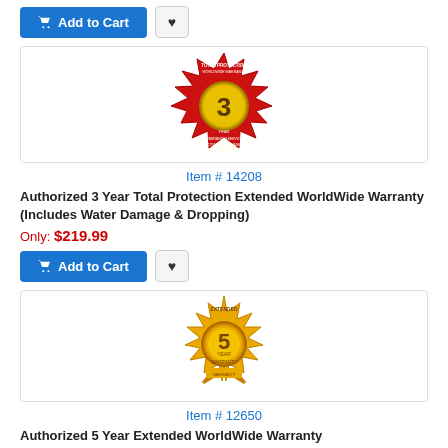[Figure (illustration): Add to Cart button and wishlist heart button row at top of page]
[Figure (illustration): 3-Year Total Protection Extended WorldWide Warranty badge - red starburst seal with number 3 and camera imagery]
Item # 14208
Authorized 3 Year Total Protection Extended WorldWide Warranty (Includes Water Damage & Dropping)
Only: $219.99
[Figure (illustration): Add to Cart button and wishlist heart button row]
[Figure (illustration): 5-Year Extended Warranty badge - gold/yellow sunburst seal with number 5]
Item # 12650
Authorized 5 Year Extended WorldWide Warranty